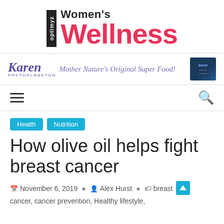[Figure (logo): Optimyz Women's Wellness magazine logo with black vertical box containing 'optimyz' text and large pink 'Wellness' wordmark]
[Figure (infographic): Karen Phytoplankton advertisement banner: cursive 'Karen' logo with 'PHYTOPLANKTON' subtitle, tagline 'Mother Nature's Original Super Food!' in purple script, and product box image on right]
[Figure (infographic): Navigation bar with hamburger menu icon on left and search magnifying glass icon on right]
Health  Nutrition
How olive oil helps fight breast cancer
November 6, 2019  Alex Hurst  breast cancer, cancer prevention, Healthy lifestyle,